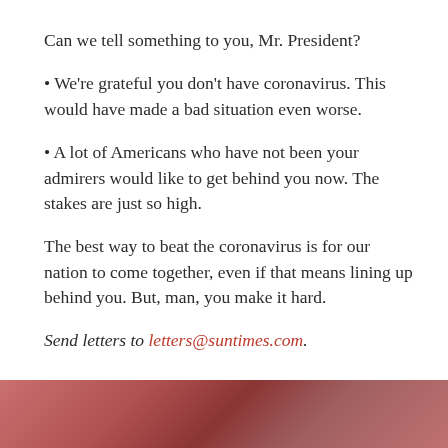Can we tell something to you, Mr. President?
• We're grateful you don't have coronavirus. This would have made a bad situation even worse.
• A lot of Americans who have not been your admirers would like to get behind you now. The stakes are just so high.
The best way to beat the coronavirus is for our nation to come together, even if that means lining up behind you. But, man, you make it hard.
Send letters to letters@suntimes.com.
[Figure (photo): Partial photo visible at bottom of page, blurred pinkish-red tones, appears to be a close-up image]